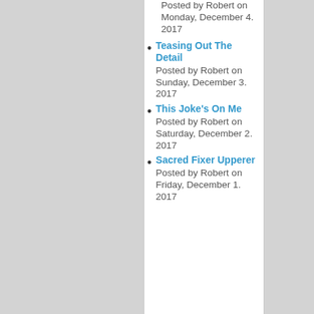Posted by Robert on Monday, December 4. 2017
Teasing Out The Detail
Posted by Robert on Sunday, December 3. 2017
This Joke's On Me
Posted by Robert on Saturday, December 2. 2017
Sacred Fixer Upperer
Posted by Robert on Friday, December 1. 2017